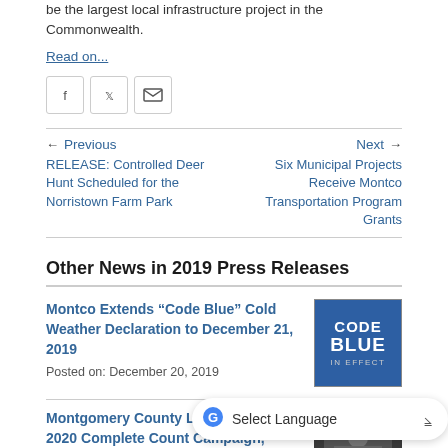be the largest local infrastructure project in the Commonwealth.
Read on...
[Figure (other): Social sharing icons: Facebook, Twitter, Email]
Previous
RELEASE: Controlled Deer Hunt Scheduled for the Norristown Farm Park
Next
Six Municipal Projects Receive Montco Transportation Program Grants
Other News in 2019 Press Releases
Montco Extends “Code Blue” Cold Weather Declaration to December 21, 2019
Posted on: December 20, 2019
[Figure (logo): CODE BLUE IN EFFECT logo badge]
Montgomery County Launches Census 2020 Complete Count Campaign, Training, and Events